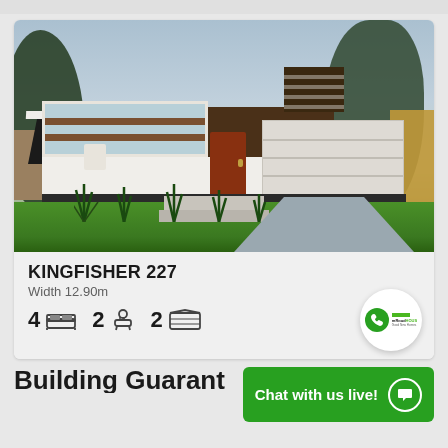[Figure (photo): Rendered exterior photo of a modern single-storey house called Kingfisher 227. White walls with dark timber accents, skillion roof, double garage, large windows, landscaped garden with lawn and ornamental grasses.]
KINGFISHER 227
Width 12.90m
4 [bed icon] 2 [bath icon] 2 [garage icon]
Building Guarant
Chat with us live!